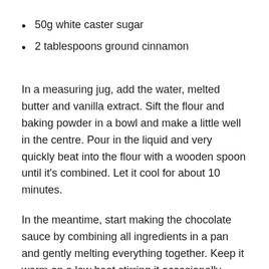50g white caster sugar
2 tablespoons ground cinnamon
In a measuring jug, add the water, melted butter and vanilla extract. Sift the flour and baking powder in a bowl and make a little well in the centre. Pour in the liquid and very quickly beat into the flour with a wooden spoon until it's combined. Let it cool for about 10 minutes.
In the meantime, start making the chocolate sauce by combining all ingredients in a pan and gently melting everything together. Keep it warm on a low heat stirring it occasionally.
As some of you might know, I have a deep fryer, which makes it handy when making this kind of recipes. If you do